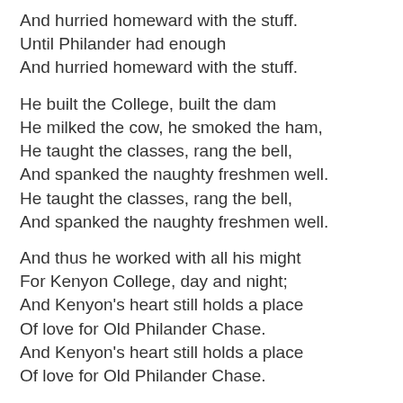And hurried homeward with the stuff.
Until Philander had enough
And hurried homeward with the stuff.
He built the College, built the dam
He milked the cow, he smoked the ham,
He taught the classes, rang the bell,
And spanked the naughty freshmen well.
He taught the classes, rang the bell,
And spanked the naughty freshmen well.
And thus he worked with all his might
For Kenyon College, day and night;
And Kenyon's heart still holds a place
Of love for Old Philander Chase.
And Kenyon's heart still holds a place
Of love for Old Philander Chase.
COD has only two comments to make with regard to this song:
1) It's astonishing how little the job description for a seminary dean has changed.